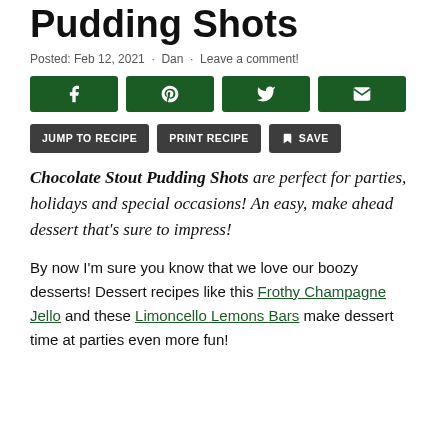Pudding Shots
Posted: Feb 12, 2021 · Dan · Leave a comment!
[Figure (other): Social share buttons: Facebook, Pinterest, Twitter, Email (dark green)]
[Figure (other): Action buttons: JUMP TO RECIPE, PRINT RECIPE, SAVE]
Chocolate Stout Pudding Shots are perfect for parties, holidays and special occasions! An easy, make ahead dessert that's sure to impress!
By now I'm sure you know that we love our boozy desserts! Dessert recipes like this Frothy Champagne Jello and these Limoncello Lemons Bars make dessert time at parties even more fun!